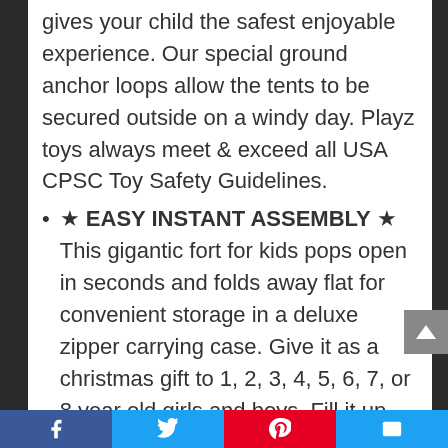gives your child the safest enjoyable experience. Our special ground anchor loops allow the tents to be secured outside on a windy day. Playz toys always meet & exceed all USA CPSC Toy Safety Guidelines.
★ EASY INSTANT ASSEMBLY ★ This gigantic fort for kids pops open in seconds and folds away flat for convenient storage in a deluxe zipper carrying case. Give it as a christmas gift to 1, 2, 3, 4, 5, 6, 7, or 8 year old girls and boys. Fill it up with 200 or more ball pit balls